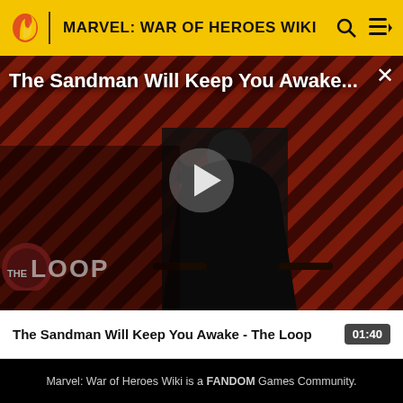MARVEL: WAR OF HEROES WIKI
[Figure (screenshot): Video thumbnail for 'The Sandman Will Keep You Awake - The Loop' showing a dark figure in a black cloak with a raven, against a diagonal red and black striped background. A play button is centered. 'THE LOOP' text logo is in the lower left. Title text 'The Sandman Will Keep You Awake...' appears at top with a close X button.]
The Sandman Will Keep You Awake - The Loop
01:40
Marvel: War of Heroes Wiki is a FANDOM Games Community.
VIEW FULL SITE